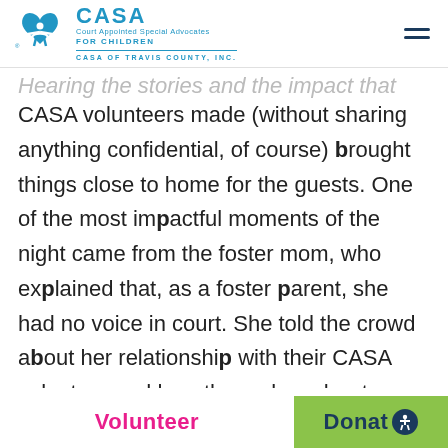CASA - Court Appointed Special Advocates FOR CHILDREN - CASA OF TRAVIS COUNTY, INC.
Hearing the stories and the impact that the CASA volunteers made (without sharing anything confidential, of course) brought things close to home for the guests. One of the most impactful moments of the night came from the foster mom, who explained that, as a foster parent, she had no voice in court. She told the crowd about her relationship with their CASA volunteer and how they rely on her to represent what the
Volunteer    Donate